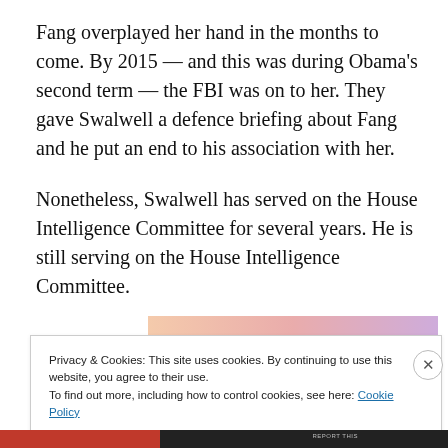Fang overplayed her hand in the months to come. By 2015 — and this was during Obama's second term — the FBI was on to her. They gave Swalwell a defence briefing about Fang and he put an end to his association with her.
Nonetheless, Swalwell has served on the House Intelligence Committee for several years. He is still serving on the House Intelligence Committee.
[Figure (other): Advertisement banner with gradient orange-pink-purple coloring]
Privacy & Cookies: This site uses cookies. By continuing to use this website, you agree to their use.
To find out more, including how to control cookies, see here: Cookie Policy